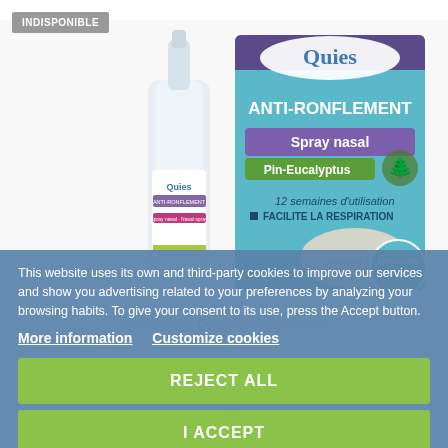[Figure (photo): Quies Anti-Ronflement nasal spray bottle and product box. The box shows the Quies brand logo, 'ANTI-RONFLEMENT', 'Spray nasal', 'Pin-Eucalyptus', '12 semaines d'utilisation', 'FACILITE LA RESPIRATION', 'EFFICACITÉ IMMÉDIATE', and an image of a sleeping man. The bottle is white with a pump nozzle.]
INDISPONIBLE
This website uses its own and third-party cookies to improve our services and show you advertising related to your preferences by analyzing your browsing habits. To give your consent to its use, press the Accept button.
More information   Customize cookies
REJECT ALL
I ACCEPT